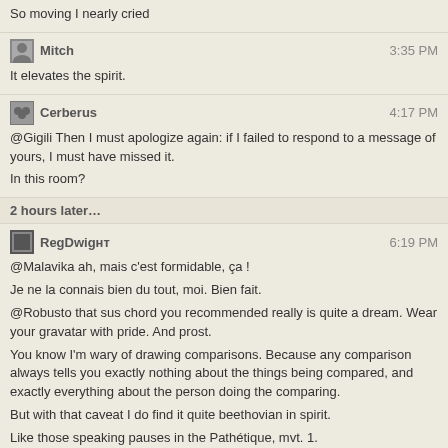So moving I nearly cried
Mitch  3:35 PM
It elevates the spirit.
Cerberus  4:17 PM
@Gigili Then I must apologize again: if I failed to respond to a message of yours, I must have missed it.
In this room?
2 hours later…
RegDwight  6:19 PM
@Malavika ah, mais c'est formidable, ça !
Je ne la connais bien du tout, moi. Bien fait.
@Robusto that sus chord you recommended really is quite a dream. Wear your gravatar with pride. And prost.
You know I'm wary of drawing comparisons. Because any comparison always tells you exactly nothing about the things being compared, and exactly everything about the person doing the comparing.
But with that caveat I do find it quite beethovian in spirit.
Like those speaking pauses in the Pathétique, mvt. 1.
And it is with the bar set just that high and not a bit lower that I'm off to drink vodka and write more music. Not necessarily in this order. But probably in this order.
2 hours later…
Eddie  8:50 PM
Hey friends... looking for a quick once over on this sentence, I'm unsure whether I should use the word "mean" or "means" -- plural or singular: